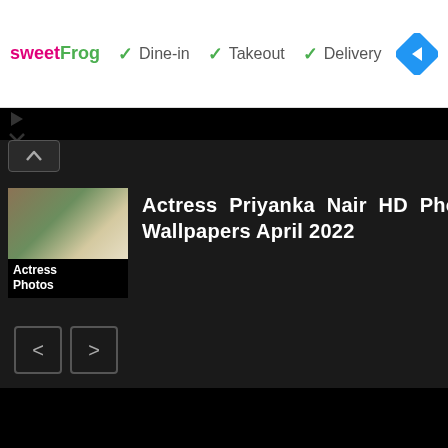[Figure (screenshot): sweetFrog ad banner with Dine-in, Takeout, Delivery checkmarks and navigation arrow icon]
[Figure (screenshot): Actress Photos thumbnail image with building/outdoor scene]
Actress Priyanka Nair HD Photos & Wallpapers April 2022
[Figure (other): Navigation previous and next arrow buttons]